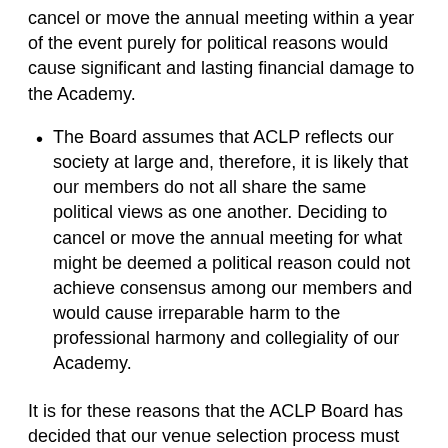cancel or move the annual meeting within a year of the event purely for political reasons would cause significant and lasting financial damage to the Academy.
The Board assumes that ACLP reflects our society at large and, therefore, it is likely that our members do not all share the same political views as one another. Deciding to cancel or move the annual meeting for what might be deemed a political reason could not achieve consensus among our members and would cause irreparable harm to the professional harmony and collegiality of our Academy.
It is for these reasons that the ACLP Board has decided that our venue selection process must be apolitical, and we must avoid political views from influencing what should be a practical business decision. I hope and trust you will understand the